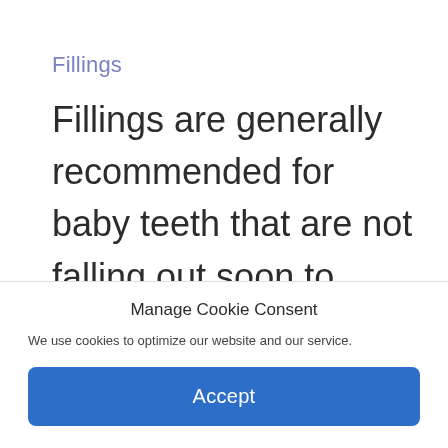Fillings
Fillings are generally recommended for baby teeth that are not falling out soon to prevent more invasive and expensive treatment. All filling material is designed to be non-toxic so
Manage Cookie Consent
We use cookies to optimize our website and our service.
Accept